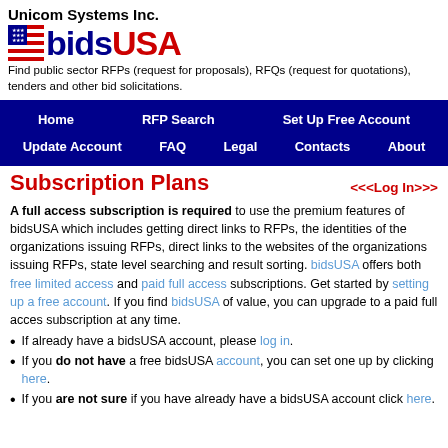Unicom Systems Inc.
[Figure (logo): bidsUSA logo with American flag stars icon, 'bids' in dark blue bold and 'USA' in red bold]
Find public sector RFPs (request for proposals), RFQs (request for quotations), tenders and other bid solicitations.
Navigation bar: Home | RFP Search | Set Up Free Account | Update Account | FAQ | Legal | Contacts | About
Subscription Plans
<<<Log In>>>
A full access subscription is required to use the premium features of bidsUSA which includes getting direct links to RFPs, the identities of the organizations issuing RFPs, direct links to the websites of the organizations issuing RFPs, state level searching and result sorting. bidsUSA offers both free limited access and paid full access subscriptions. Get started by setting up a free account. If you find bidsUSA of value, you can upgrade to a paid full acces subscription at any time.
If already have a bidsUSA account, please log in.
If you do not have a free bidsUSA account, you can set one up by clicking here.
If you are not sure if you have already have a bidsUSA account click here.